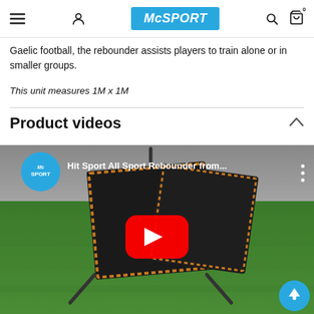McSPORT navigation bar with hamburger menu, user icon, McSPORT logo, search icon, and cart icon with badge 0
Gaelic football, the rebounder assists players to train alone or in smaller groups.
This unit measures 1M x 1M
Product videos
[Figure (screenshot): YouTube video thumbnail showing a Hit Sport All Sport Rebounder on green grass with McSPORT channel icon and red YouTube play button overlay. Title reads: Hit Sport All Sport Rebounder from...]